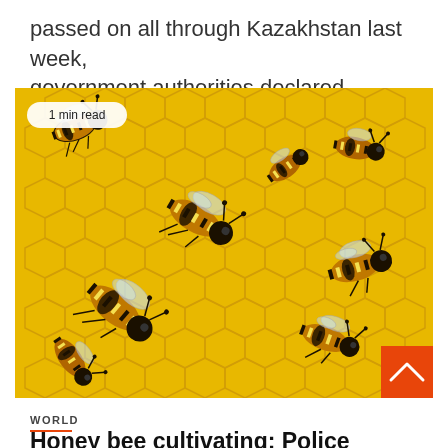passed on all through Kazakhstan last week, government authorities declared Monday, following...
[Figure (photo): Close-up photo of multiple honey bees on a golden honeycomb, with a '1 min read' badge in the top-left corner and an orange scroll-up button in the bottom-right corner.]
WORLD
Honey bee cultivating: Police stung